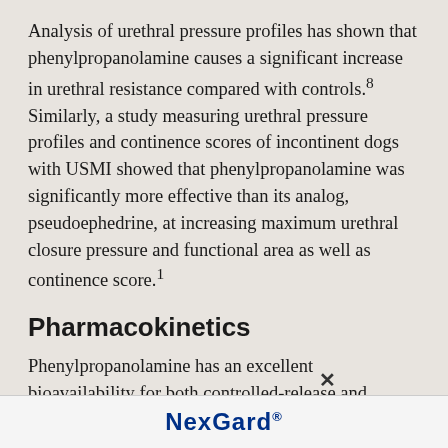Analysis of urethral pressure profiles has shown that phenylpropanolamine causes a significant increase in urethral resistance compared with controls.8 Similarly, a study measuring urethral pressure profiles and continence scores of incontinent dogs with USMI showed that phenylpropanolamine was significantly more effective than its analog, pseudoephedrine, at increasing maximum urethral closure pressure and functional area as well as continence score.1
Pharmacokinetics
Phenylpropanolamine has an excellent bioavailability for both controlled-release and immediate-release formulations (93.7% and 98%, respectively) in dogs.12 Maximal concentrations (Cmax) are reached 2 hours after administration, with
[Figure (logo): NexGard logo banner at bottom of page]